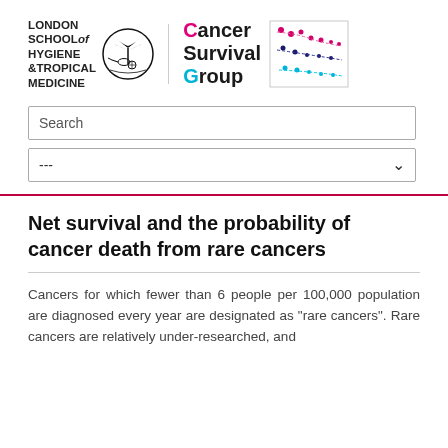[Figure (logo): London School of Hygiene & Tropical Medicine logo with emblem and Cancer Survival Group logo with scatter plot graphic]
Search
---
Net survival and the probability of cancer death from rare cancers
Cancers for which fewer than 6 people per 100,000 population are diagnosed every year are designated as "rare cancers". Rare cancers are relatively under-researched, and